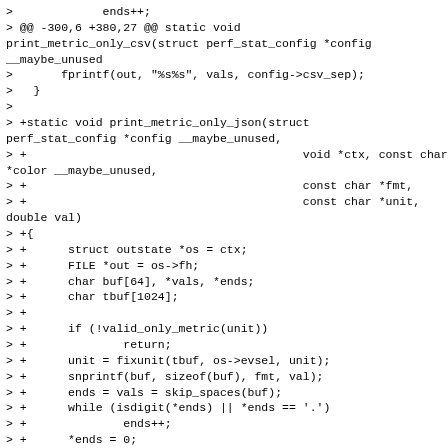>             ends++;
> @@ -300,6 +380,27 @@ static void print_metric_only_csv(struct perf_stat_config *config __maybe_unused
>       fprintf(out, "%s%s", vals, config->csv_sep);
>   }
>
> +static void print_metric_only_json(struct perf_stat_config *config __maybe_unused,
> +                                        void *ctx, const char *color __maybe_unused,
> +                                        const char *fmt,
> +                                        const char *unit, double val)
> +{
> +      struct outstate *os = ctx;
> +      FILE *out = os->fh;
> +      char buf[64], *vals, *ends;
> +      char tbuf[1024];
> +
> +      if (!valid_only_metric(unit))
> +              return;
> +      unit = fixunit(tbuf, os->evsel, unit);
> +      snprintf(buf, sizeof(buf), fmt, val);
> +      ends = vals = skip_spaces(buf);
> +      while (isdigit(*ends) || *ends == '.')
> +              ends++;
> +      *ends = 0;
> +      fprintf(out, "{\"metric-value\" : \"%s\"}",
vals);